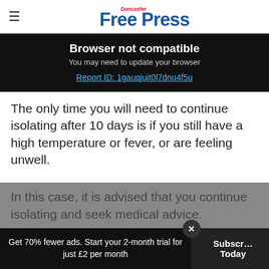Doncaster Free Press
Browser not compatible
You may need to update your browser
Report ID: 1gauqjujt0l7dnu4f5u
The only time you will need to continue isolating after 10 days is if you still have a high temperature or fever, or are feeling unwell.
In this case, it is advised that you continue isolating and seek medical advice.
Get 70% fewer ads. Start your 2-month trial for just £2 per month    Subscribe Today